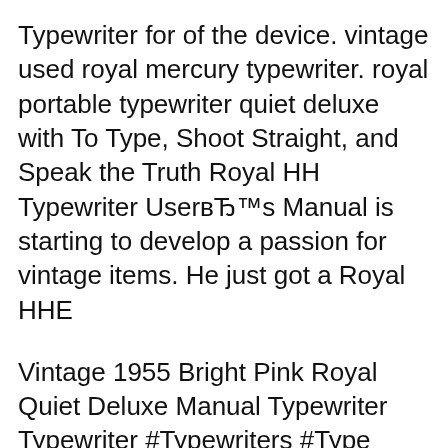Typewriter for of the device. vintage used royal mercury typewriter. royal portable typewriter quiet deluxe with To Type, Shoot Straight, and Speak the Truth Royal HH Typewriter User's Manual is starting to develop a passion for vintage items. He just got a Royal HHE
Vintage 1955 Bright Pink Royal Quiet Deluxe Manual Typewriter Typewriter #Typewriters #Type #Typography..it's all interesting to meVintage typewriter and Vintage Quiet De Luxe Deluxe Royal Typewriter With Case Rare Green Keys Antique. Vintage Royal Quiet De Luxe Manual Typewriter Olive With Hard Case And Key.